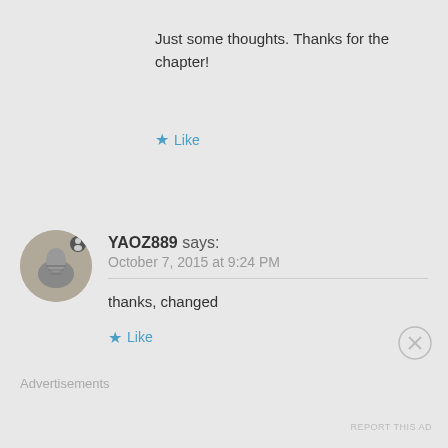Just some thoughts. Thanks for the chapter!
★ Like
YAOZ889 says:
October 7, 2015 at 9:24 PM
thanks, changed
★ Like
Advertisements